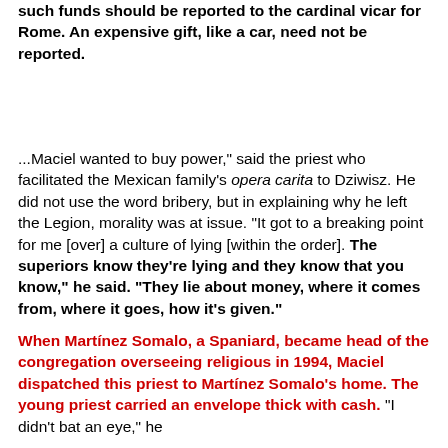such funds should be reported to the cardinal vicar for Rome. An expensive gift, like a car, need not be reported.
...Maciel wanted to buy power," said the priest who facilitated the Mexican family's opera carita to Dziwisz. He did not use the word bribery, but in explaining why he left the Legion, morality was at issue. "It got to a breaking point for me [over] a culture of lying [within the order]. The superiors know they're lying and they know that you know," he said. "They lie about money, where it comes from, where it goes, how it's given."
When Martínez Somalo, a Spaniard, became head of the congregation overseeing religious in 1994, Maciel dispatched this priest to Martínez Somalo's home. The young priest carried an envelope thick with cash. "I didn't bat an eye," he